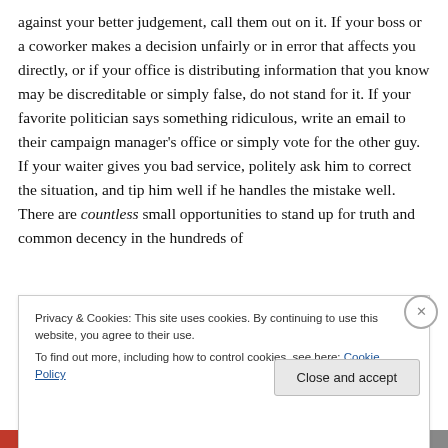against your better judgement, call them out on it. If your boss or a coworker makes a decision unfairly or in error that affects you directly, or if your office is distributing information that you know may be discreditable or simply false, do not stand for it. If your favorite politician says something ridiculous, write an email to their campaign manager's office or simply vote for the other guy. If your waiter gives you bad service, politely ask him to correct the situation, and tip him well if he handles the mistake well. There are countless small opportunities to stand up for truth and common decency in the hundreds of
Privacy & Cookies: This site uses cookies. By continuing to use this website, you agree to their use.
To find out more, including how to control cookies, see here: Cookie Policy
Close and accept